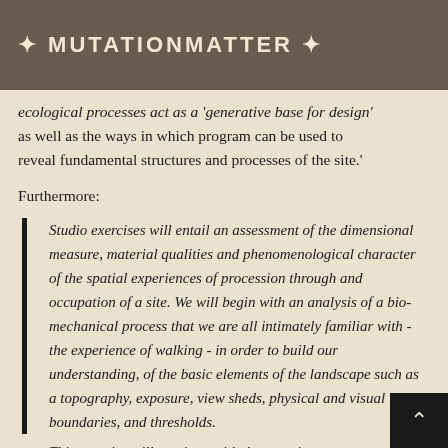MUTATIONMATTER
ecological processes act as a 'generative base for design' as well as the ways in which program can be used to reveal fundamental structures and processes of the site.'
Furthermore:
Studio exercises will entail an assessment of the dimensional measure, material qualities and phenomenological character of the spatial experiences of procession through and occupation of a site. We will begin with an analysis of a bio-mechanical process that we are all intimately familiar with - the experience of walking - in order to build our understanding, of the basic elements of the landscape such as a topography, exposure, view sheds, physical and visual boundaries, and thresholds.
This exercise will continue with the meaning...